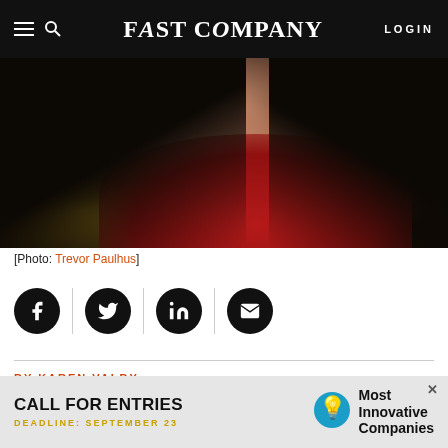FAST COMPANY
[Figure (photo): Woman in red top smiling, dark background with warm golden light, professional portrait photo]
[Photo: Trevor Paulhus]
[Figure (infographic): Social sharing icons row: Facebook, Twitter, LinkedIn, Email]
BY KAREN VALBY
3 MINUTE READ
[Figure (infographic): Ad banner: CALL FOR ENTRIES - DEADLINE: SEPTEMBER 23 - Most Innovative Companies]